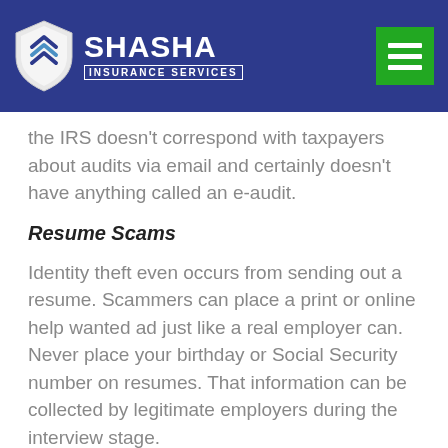SHASHA INSURANCE SERVICES
the IRS doesn't correspond with taxpayers about audits via email and certainly doesn't have anything called an e-audit.
Resume Scams
Identity theft even occurs from sending out a resume. Scammers can place a print or online help wanted ad just like a real employer can. Never place your birthday or Social Security number on resumes. That information can be collected by legitimate employers during the interview stage.
The best way to stay safe is not responding, even with a don't contact me or remove my name from the list email, to anything you feel has the potential to be a scam.